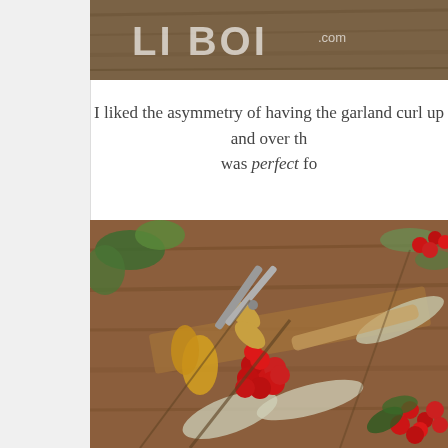[Figure (photo): Partially visible blog/website logo text 'LI BOI.com' on a brown wooden background, top portion of page]
I liked the asymmetry of having the garland curl up and over th... was perfect fo...
[Figure (photo): Close-up photo of holiday garland crafting materials on a wooden surface: red berries, greenery, pine branches, yellow dried flowers, and scissors]